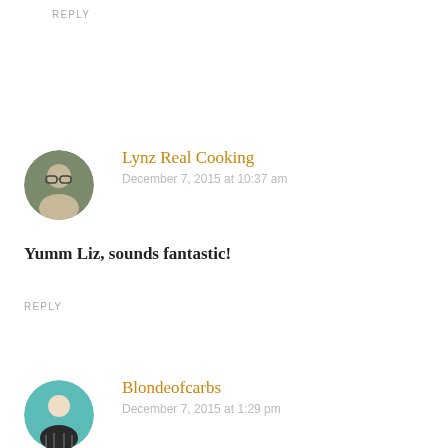REPLY
Lynz Real Cooking
December 7, 2015 at 10:37 am
Yumm Liz, sounds fantastic!
REPLY
Blondeofcarbs
December 7, 2015 at 1:29 pm